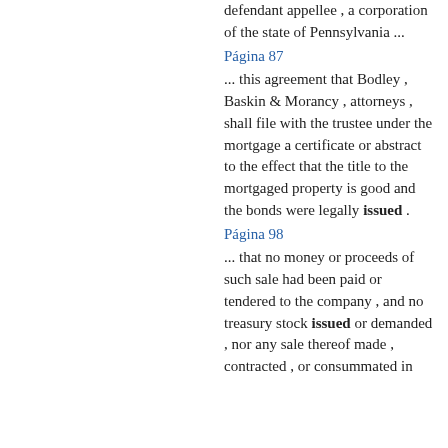defendant appellee , a corporation of the state of Pennsylvania ...
Página 87
... this agreement that Bodley , Baskin & Morancy , attorneys , shall file with the trustee under the mortgage a certificate or abstract to the effect that the title to the mortgaged property is good and the bonds were legally issued .
Página 98
... that no money or proceeds of such sale had been paid or tendered to the company , and no treasury stock issued or demanded , nor any sale thereof made , contracted , or consummated in